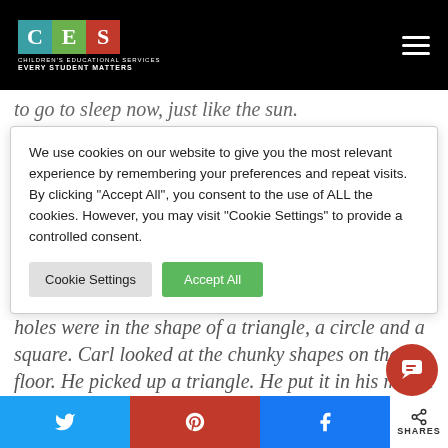[Figure (logo): Children's Educational Services (CES) logo with colored letter blocks C (teal), E (green), S (red), subtitle CHILDREN'S EDUCATIONAL SERVICES, tagline EVERY STUDENT MATTERS, on black header bar]
to go to sleep now, just like the sun.
We use cookies on our website to give you the most relevant experience by remembering your preferences and repeat visits. By clicking "Accept All", you consent to the use of ALL the cookies. However, you may visit "Cookie Settings" to provide a controlled consent.
holes were in the shape of a triangle, a circle and a square. Carl looked at the chunky shapes on the floor. He picked up a triangle. He put it in his mouth